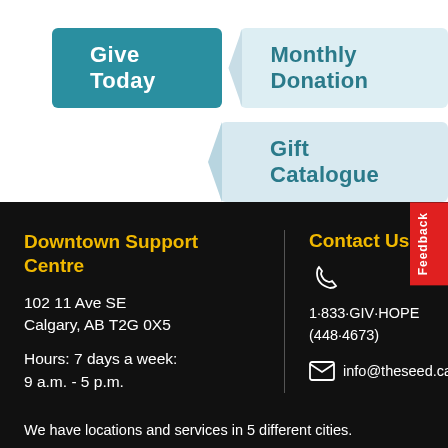Give Today
Monthly Donation
Gift Catalogue
Downtown Support Centre
102 11 Ave SE
Calgary, AB T2G 0X5
Hours: 7 days a week:
9 a.m. - 5 p.m.
Contact Us
1·833·GIV·HOPE
(448·4673)
info@theseed.ca
We have locations and services in 5 different cities.